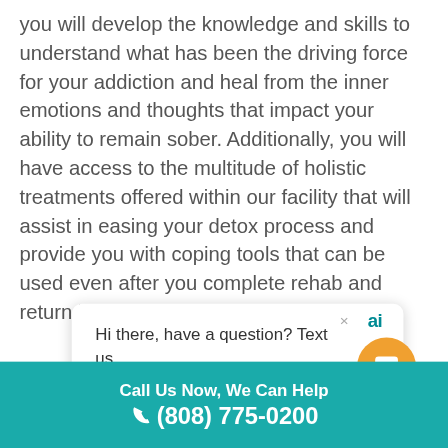you will develop the knowledge and skills to understand what has been the driving force for your addiction and heal from the inner emotions and thoughts that impact your ability to remain sober. Additionally, you will have access to the multitude of holistic treatments offered within our facility that will assist in easing your detox process and provide you with coping tools that can be used even after you complete rehab and return home.
[Figure (screenshot): Chat widget popup with message 'Hi there, have a question? Text us here.' with close button and orange chat icon]
Call Us Now, We Can Help (808) 775-0200